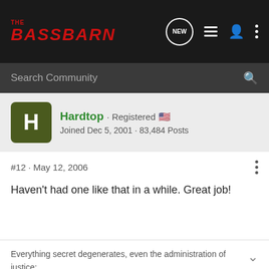THE BASS BARN
Search Community
Hardtop · Registered 🇺🇸
Joined Dec 5, 2001 · 83,484 Posts
#12 · May 12, 2006
Haven't had one like that in a while. Great job!
Everything secret degenerates, even the administration of justice; nothing is safe that does not show how it can bear discussion and